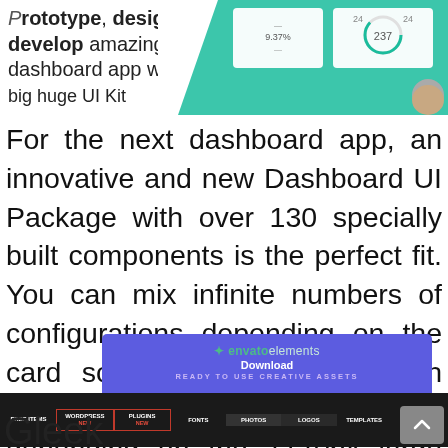[Figure (screenshot): Partial screenshot of a dashboard app UI kit promotional image showing text 'Prototype, design or develop amazing dashboard app with big huge UI Kit' on the left and a teal/green dashboard interface preview on the right]
For the next dashboard app, an innovative and new Dashboard UI Package with over 130 specially built components is the perfect fit. You can mix infinite numbers of configurations depending on the card scheme and it will match perfectly because we made it all depending on the 1170px large Bootstrap grid.
[Figure (screenshot): Envato Elements advertisement banner with logo, 'Download' text, 'READY TO USE CREATIVE ASSETS' subtitle, navigation bar with FREE ITEMS, WORDPRESS NEW, PLUGINS NEW, FONTS, PHOTOS, LOGOS, TEMPLATES, AND MORE! items, and START NOW button]
Gleek